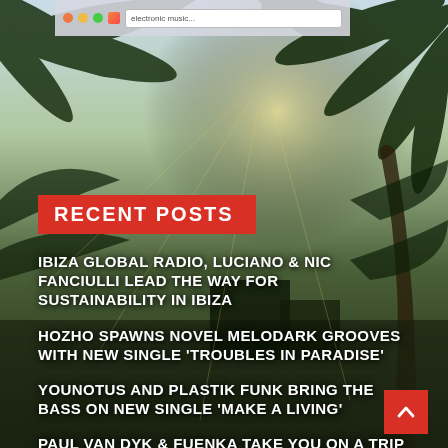[Figure (photo): Background photo of palm trees with sunlight filtering through leaves, overlaid with a website screenshot bar at top]
RECENT POSTS
IBIZA GLOBAL RADIO, LUCIANO & NIC FANCIULLI LEAD THE WAY FOR SUSTAINABILITY IN IBIZA
HOZHO SPAWNS NOVEL MELODARK GROOVES WITH NEW SINGLE 'TROUBLES IN PARADISE'
YOUNOTUS AND PLASTIK FUNK BRING THE BASS ON NEW SINGLE 'MAKE A LIVING'
PAUL VAN DYK & FUENKA TAKE YOU ON A TRIP ON NEW RELEASE 'ARTEFACT', OUT THIS AUGUST ON VANDIT!